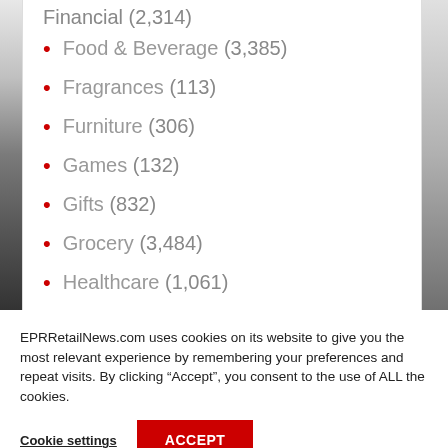Financial (2,314)
Food & Beverage (3,385)
Fragrances (113)
Furniture (306)
Games (132)
Gifts (832)
Grocery (3,484)
Healthcare (1,061)
EPRRetailNews.com uses cookies on its website to give you the most relevant experience by remembering your preferences and repeat visits. By clicking “Accept”, you consent to the use of ALL the cookies.
Cookie settings
ACCEPT